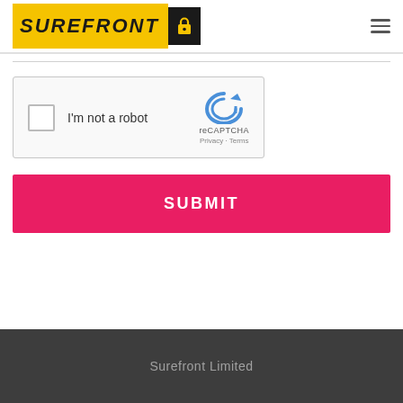[Figure (logo): Surefront logo: yellow background with italic bold text 'SUREFRONT' and black square with padlock icon]
[Figure (screenshot): reCAPTCHA widget with checkbox and 'I'm not a robot' text, reCAPTCHA logo, Privacy - Terms links]
SUBMIT
Surefront Limited